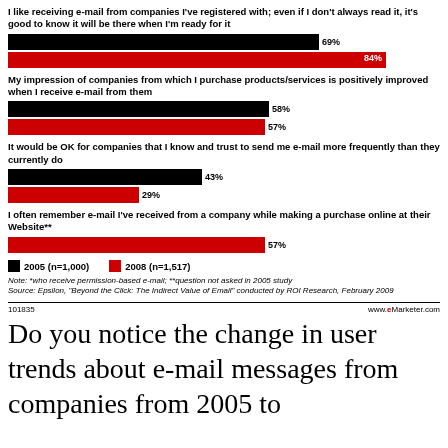[Figure (grouped-bar-chart): Email attitudes 2005 vs 2008]
Note: *who receive permission-based e-mail; **question not asked in 2005 study
Source: Epsilon, "Beyond the Click: The Indirect Value of Email" conducted by ROI Research, February 2009
101835    www.eMarketer.com
Do you notice the change in user trends about e-mail messages from companies from 2005 to